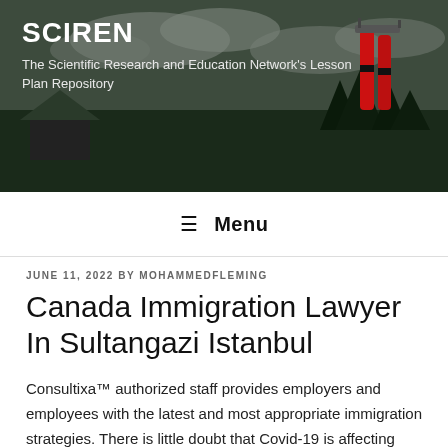SCIREN
The Scientific Research and Education Network's Lesson Plan Repository
≡ Menu
JUNE 11, 2022 BY MOHAMMEDFLEMING
Canada Immigration Lawyer In Sultangazi Istanbul
Consultixa™ authorized staff provides employers and employees with the latest and most appropriate immigration strategies. There is little doubt that Covid-19 is affecting many lives and livelihoods. In spite of assembly all these necessities, foreigners may be required to withdraw from the state citizenship they are